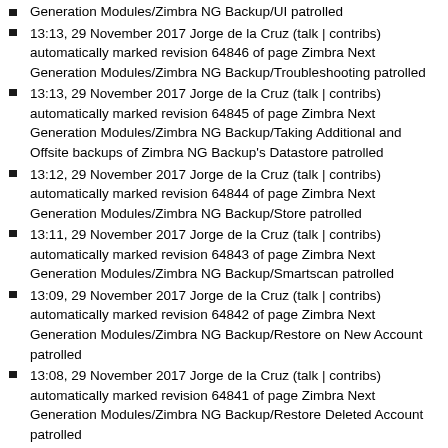Generation Modules/Zimbra NG Backup/UI patrolled
13:13, 29 November 2017 Jorge de la Cruz (talk | contribs) automatically marked revision 64846 of page Zimbra Next Generation Modules/Zimbra NG Backup/Troubleshooting patrolled
13:13, 29 November 2017 Jorge de la Cruz (talk | contribs) automatically marked revision 64845 of page Zimbra Next Generation Modules/Zimbra NG Backup/Taking Additional and Offsite backups of Zimbra NG Backup's Datastore patrolled
13:12, 29 November 2017 Jorge de la Cruz (talk | contribs) automatically marked revision 64844 of page Zimbra Next Generation Modules/Zimbra NG Backup/Store patrolled
13:11, 29 November 2017 Jorge de la Cruz (talk | contribs) automatically marked revision 64843 of page Zimbra Next Generation Modules/Zimbra NG Backup/Smartscan patrolled
13:09, 29 November 2017 Jorge de la Cruz (talk | contribs) automatically marked revision 64842 of page Zimbra Next Generation Modules/Zimbra NG Backup/Restore on New Account patrolled
13:08, 29 November 2017 Jorge de la Cruz (talk | contribs) automatically marked revision 64841 of page Zimbra Next Generation Modules/Zimbra NG Backup/Restore Deleted Account patrolled
12:53, 29 November 2017 Jorge de la Cruz (talk | contribs) automatically marked revision 64840 of page Zimbra Next